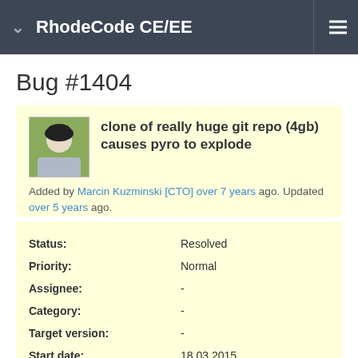RhodeCode CE/EE
Bug #1404
clone of really huge git repo (4gb) causes pyro to explode
Added by Marcin Kuzminski [CTO] over 7 years ago. Updated over 5 years ago.
| Field | Value |
| --- | --- |
| Status: | Resolved |
| Priority: | Normal |
| Assignee: | - |
| Category: | - |
| Target version: | - |
| Start date: | 18.03.2015 |
| Due date: |  |